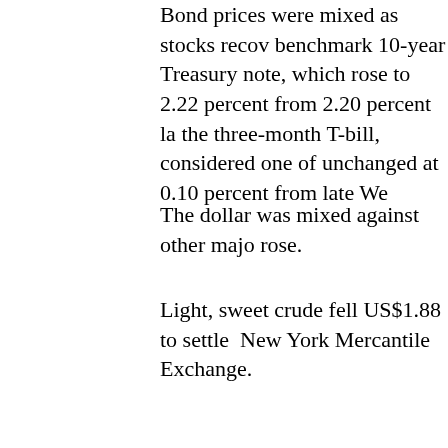Bond prices were mixed as stocks recov… benchmark 10-year Treasury note, which rose to 2.22 percent from 2.20 percent la… the three-month T-bill, considered one of… unchanged at 0.10 percent from late We…
The dollar was mixed against other majo… rose.
Light, sweet crude fell US$1.88 to settle … New York Mercantile Exchange.
The Bank of America news more than of… better-than-expected earnings report fro… banking company managed to avoid a lo… US$702 million in the October-December… predicted the company would break even…
Bank stocks still declined as the rest of t… America fell US$1.88, or 18 percent, to U… 70 cents, or 15 percent, to US$3.83. Mo… 5.4 percent, to US$16.26. JPMorgan fell… US$24.34.
Jerome Booth, head of research at Ashm… Ltd in London, said banks will need addi… they are to resume more normal levels o…